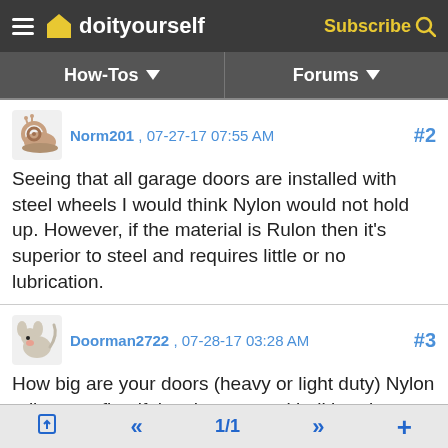doityourself — Subscribe
How-Tos    Forums
Norm201 , 07-27-17 07:55 AM   #2
Seeing that all garage doors are installed with steel wheels I would think Nylon would not hold up. However, if the material is Rulon then it's superior to steel and requires little or no lubrication.
Doorman2722 , 07-28-17 03:28 AM   #3
How big are your doors (heavy or light duty) Nylon rollers are fine if they have actual ball bearings. They make your door run quieter than steel. Even buying steel rollers you should look for a roller with actual ball bearings as apposed to the light duty bushing style... Be aware if you try to change the bottom roller, that bracket has tension on it and you could
🔒    «    1/1    »    +